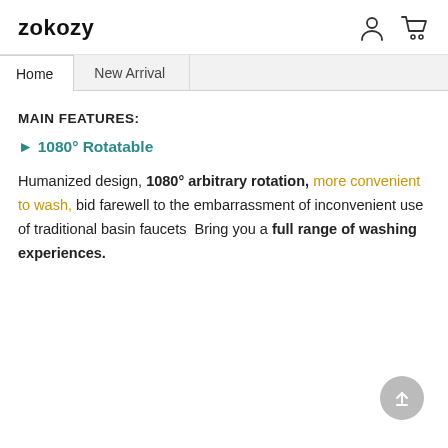zokozy
MAIN FEATURES:
► 1080° Rotatable
Humanized design, 1080° arbitrary rotation, more convenient to wash, bid farewell to the embarrassment of inconvenient use of traditional basin faucets  Bring you a full range of washing experiences.